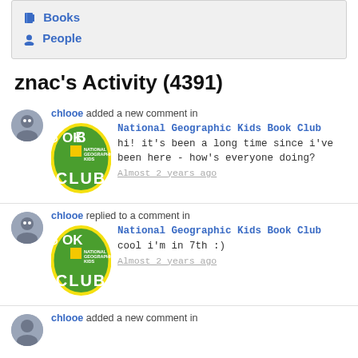📘 Books
👤 People
znac's Activity (4391)
chlooe added a new comment in National Geographic Kids Book Club — hi! it's been a long time since i've been here - how's everyone doing? Almost 2 years ago
chlooe replied to a comment in National Geographic Kids Book Club — cool i'm in 7th :) Almost 2 years ago
chlooe added a new comment in